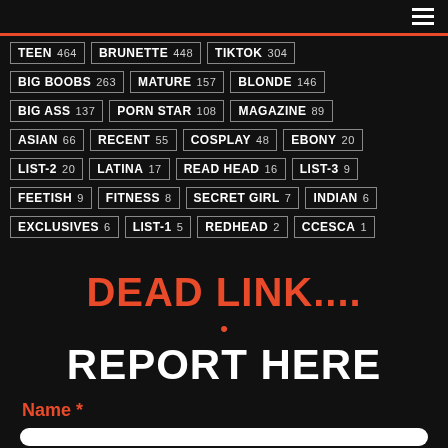Navigation menu
TEEN 464  BRUNETTE 448  TIKTOK 304
BIG BOOBS 263  MATURE 157  BLONDE 146
BIG ASS 137  PORN STAR 108  MAGAZINE 89
ASIAN 66  RECENT 55  COSPLAY 48  EBONY 20
LIST-2 20  LATINA 17  READ HEAD 16  LIST-3 9
FEETISH 9  FITNESS 8  SECRET GIRL 7  INDIAN 6
EXCLUSIVES 6  LIST-1 5  REDHEAD 2  Ccesca 1
DEAD LINK....
REPORT HERE
Name *